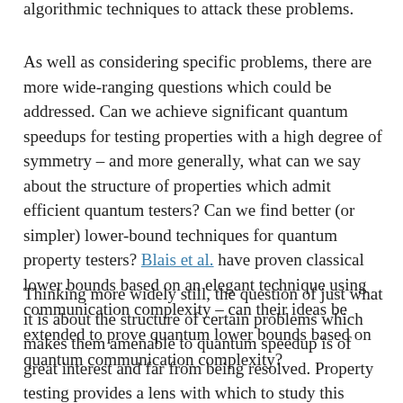algorithmic techniques to attack these problems.
As well as considering specific problems, there are more wide-ranging questions which could be addressed. Can we achieve significant quantum speedups for testing properties with a high degree of symmetry – and more generally, what can we say about the structure of properties which admit efficient quantum testers? Can we find better (or simpler) lower-bound techniques for quantum property testers? Blais et al. have proven classical lower bounds based on an elegant technique using communication complexity – can their ideas be extended to prove quantum lower bounds based on quantum communication complexity?
Thinking more widely still, the question of just what it is about the structure of certain problems which makes them amenable to quantum speedup is of great interest and far from being resolved. Property testing provides a lens with which to study this question, whether by finding new